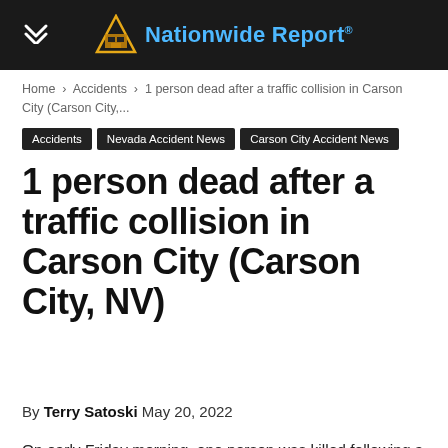Nationwide Report
Home › Accidents › 1 person dead after a traffic collision in Carson City (Carson City,...
Accidents
Nevada Accident News
Carson City Accident News
1 person dead after a traffic collision in Carson City (Carson City, NV)
By Terry Satoski May 20, 2022
On early Friday morning, one person was killed following a